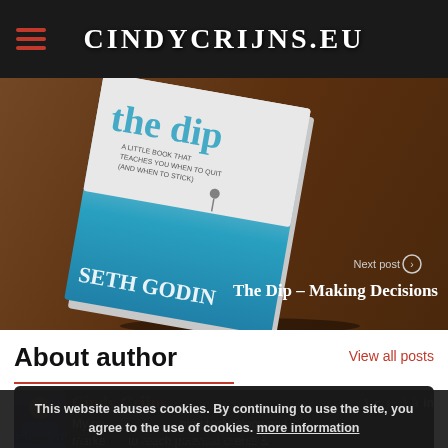CINDYCRIJNS.EU
[Figure (photo): Photo of a book titled 'The Dip' by Seth Godin lying on a wooden surface, photographed from above at an angle. The book cover is white and teal with the text 'The Dip' visible.]
Next post
The Dip – Making Decisions
About author
View all posts
Cindy Crijns
This website abuses cookies. By continuing to use the site, you agree to the use of cookies. more information
Accept
My passion is combining technology and marketing to reach potential clients & retain current customers. Specialities: B2B,